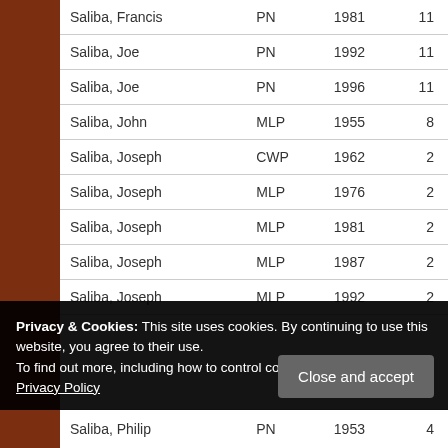| Name | Party | Year | District |
| --- | --- | --- | --- |
| Saliba, Francis | PN | 1981 | 11 |
| Saliba, Joe | PN | 1992 | 11 |
| Saliba, Joe | PN | 1996 | 11 |
| Saliba, John | MLP | 1955 | 8 |
| Saliba, Joseph | CWP | 1962 | 2 |
| Saliba, Joseph | MLP | 1976 | 2 |
| Saliba, Joseph | MLP | 1981 | 2 |
| Saliba, Joseph | MLP | 1987 | 2 |
| Saliba, Joseph | MLP | 1992 | 2 |
| Saliba, Philip | PN | 1953 | 4 |
Privacy & Cookies: This site uses cookies. By continuing to use this website, you agree to their use. To find out more, including how to control cookies, see here: Our Privacy Policy